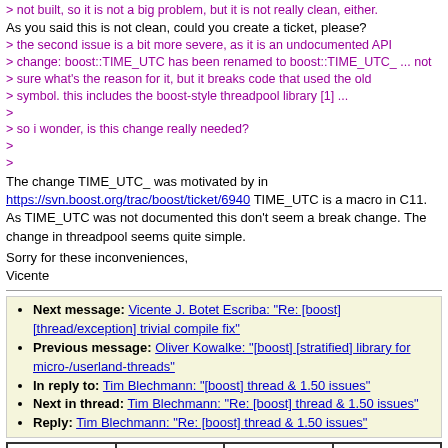> not built, so it is not a big problem, but it is not really clean, either.
As you said this is not clean, could you create a ticket, please?
> the second issue is a bit more severe, as it is an undocumented API
> change: boost::TIME_UTC has been renamed to boost::TIME_UTC_ ... not
> sure what's the reason for it, but it breaks code that used the old
> symbol. this includes the boost-style threadpool library [1] ...
>
> so i wonder, is this change really needed?
>
>
The change TIME_UTC_ was motivated by in https://svn.boost.org/trac/boost/ticket/6940 TIME_UTC is a macro in C11. As TIME_UTC was not documented this don't seem a break change. The change in threadpool seems quite simple.
Sorry for these inconveniences,
Vicente
Next message: Vicente J. Botet Escriba: "Re: [boost] [thread/exception] trivial compile fix"
Previous message: Oliver Kowalke: "[boost] [stratified] library for micro-/userland-threads"
In reply to: Tim Blechmann: "[boost] thread & 1.50 issues"
Next in thread: Tim Blechmann: "Re: [boost] thread & 1.50 issues"
Reply: Tim Blechmann: "Re: [boost] thread & 1.50 issues"
Date view | Thread view | Subject view | Author view
Boost list run by bdawes at acm.org, gregod at cs.rpi.edu, cpdaniel at pacbell.net, john at johnmaddock.co.uk